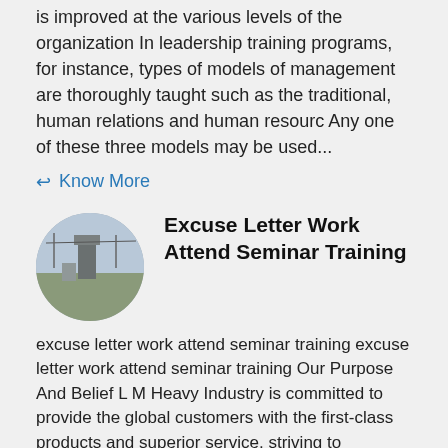is improved at the various levels of the organization In leadership training programs, for instance, types of models of management are thoroughly taught such as the traditional, human relations and human resourc Any one of these three models may be used...
Know More
Excuse Letter Work Attend Seminar Training
[Figure (photo): Circular thumbnail photo of an industrial facility or factory building outdoors]
excuse letter work attend seminar training excuse letter work attend seminar training Our Purpose And Belief L M Heavy Industry is committed to provide the global customers with the first-class products and superior service, striving to maximize and optimize the interests and values of the customers, and build bright future with high quality...